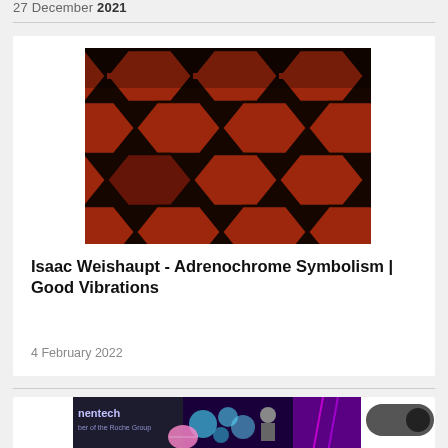27 December 2021
[Figure (photo): Overhead view of a red and black geometric hexagonal carpet pattern, resembling the carpet from The Shining]
Isaac Weishaupt - Adrenochrome Symbolism | Good Vibrations
4 February 2022
[Figure (photo): Collage image featuring 'Genentech, Member of the Roche Group' text, scientific imagery of cells, a globe, people, and colorful abstract background]